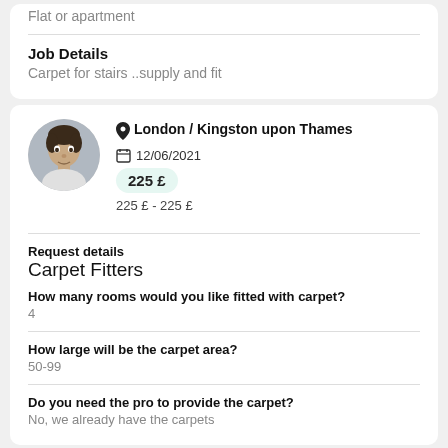What type of property is this for?
Flat or apartment
Job Details
Carpet for stairs ..supply and fit
[Figure (photo): Circular profile photo of a man]
London / Kingston upon Thames
12/06/2021
225 £
225 £ - 225 £
Request details
Carpet Fitters
How many rooms would you like fitted with carpet?
4
How large will be the carpet area?
50-99
Do you need the pro to provide the carpet?
No, we already have the carpets